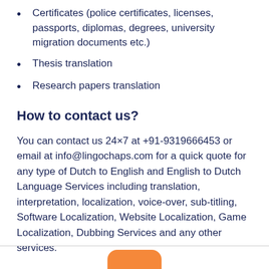Certificates (police certificates, licenses, passports, diplomas, degrees, university migration documents etc.)
Thesis translation
Research papers translation
How to contact us?
You can contact us 24×7 at +91-9319666453 or email at info@lingochaps.com for a quick quote for any type of Dutch to English and English to Dutch Language Services including translation, interpretation, localization, voice-over, sub-titling, Software Localization, Website Localization, Game Localization, Dubbing Services and any other services.